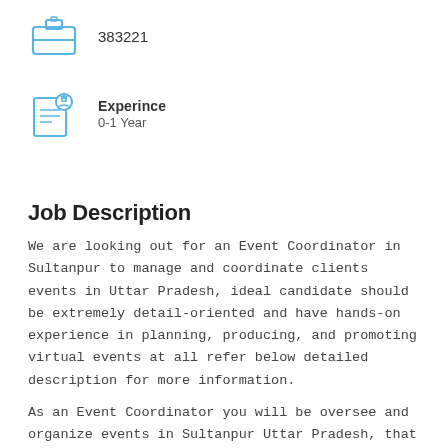[Figure (illustration): Blue briefcase icon with a small square on top]
383221
[Figure (illustration): Blue experience/resume icon with a person and star badge over a document]
Experince
0-1 Year
Job Description
We are looking out for an Event Coordinator in Sultanpur to manage and coordinate clients events in Uttar Pradesh, ideal candidate should be extremely detail-oriented and have hands-on experience in planning, producing, and promoting virtual events at all refer below detailed description for more information.
As an Event Coordinator you will be oversee and organize events in Sultanpur Uttar Pradesh, that will make an impact on a target audience. You will